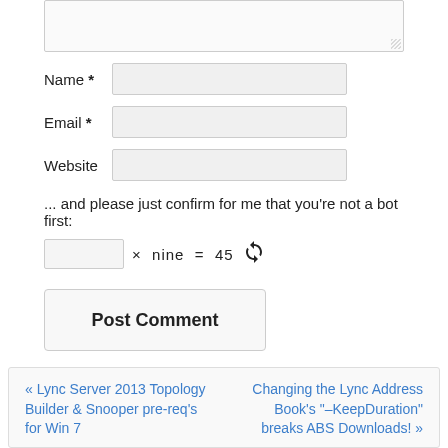[Figure (other): Text area input box (form element) with resize handle at bottom right]
Name *
[Figure (other): Name input field (form element)]
Email *
[Figure (other): Email input field (form element)]
Website
[Figure (other): Website input field (form element)]
... and please just confirm for me that you're not a bot first:
[Figure (other): CAPTCHA input field followed by: × nine = 45 and a refresh icon]
[Figure (other): Post Comment button]
This site uses Akismet to reduce spam. Learn how your comment data is processed.
« Lync Server 2013 Topology Builder & Snooper pre-req's for Win 7
Changing the Lync Address Book's "-KeepDuration" breaks ABS Downloads! »